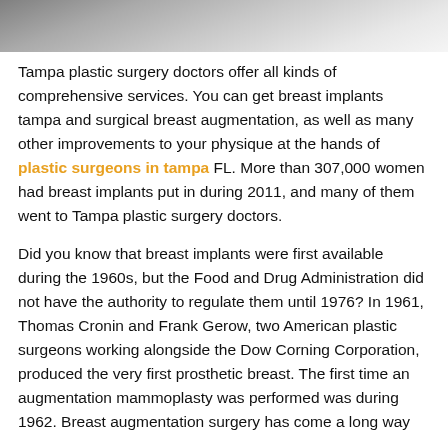[Figure (photo): Partial photo of what appears to be a medical or clinical scene, cropped at the top of the page.]
Tampa plastic surgery doctors offer all kinds of comprehensive services. You can get breast implants tampa and surgical breast augmentation, as well as many other improvements to your physique at the hands of plastic surgeons in tampa FL. More than 307,000 women had breast implants put in during 2011, and many of them went to Tampa plastic surgery doctors.
Did you know that breast implants were first available during the 1960s, but the Food and Drug Administration did not have the authority to regulate them until 1976? In 1961, Thomas Cronin and Frank Gerow, two American plastic surgeons working alongside the Dow Corning Corporation, produced the very first prosthetic breast. The first time an augmentation mammoplasty was performed was during 1962. Breast augmentation surgery has come a long way